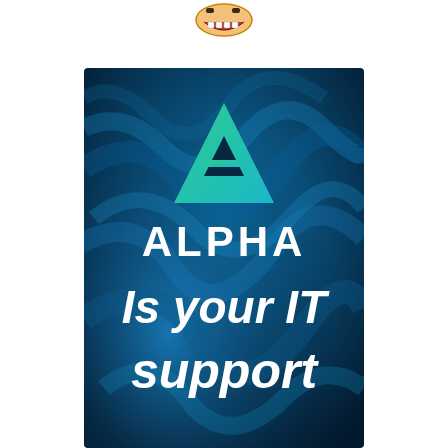[Figure (illustration): Small cartoon/emoji face icon at top center of the page, showing a grinning mouth with teeth]
[Figure (logo): Alpha IT Support promotional image: dark blue swirling marble/liquid background with a teal/green triangle-shaped Alpha logo symbol at top center, text 'ALPHA' in large white bold letters, followed by 'Is your IT support' in large white bold italicized font below]